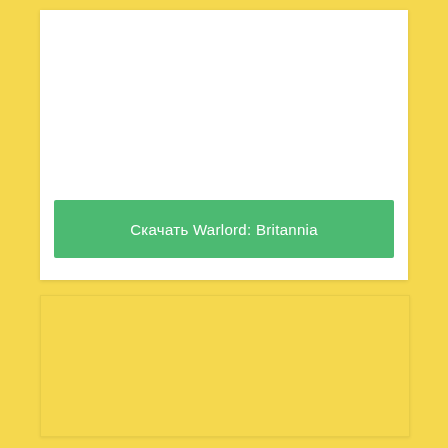[Figure (screenshot): White card area in the upper portion of the page with a green download button]
Скачать Warlord: Britannia
[Figure (screenshot): Yellow card in the lower portion of the page with a small dark blue rectangle in the center]